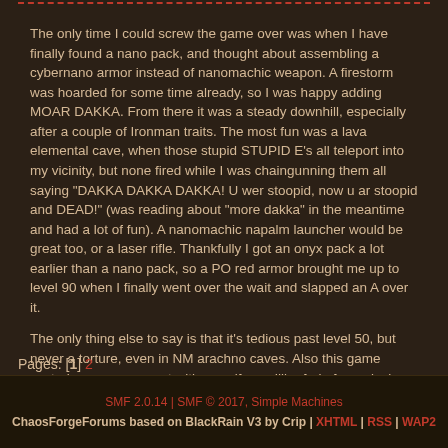The only time I could screw the game over was when I have finally found a nano pack, and thought about assembling a cybernano armor instead of nanomachic weapon. A firestorm was hoarded for some time already, so I was happy adding MOAR DAKKA. From there it was a steady downhill, especially after a couple of Ironman traits. The most fun was a lava elemental cave, when those stupid STUPID E's all teleport into my vicinity, but none fired while I was chaingunning them all saying "DAKKA DAKKA DAKKA! U wer stoopid, now u ar stoopid and DEAD!" (was reading about "more dakka" in the meantime and had a lot of fun). A nanomachic napalm launcher would be great too, or a laser rifle. Thankfully I got an onyx pack a lot earlier than a nano pack, so a PO red armor brought me up to level 90 when I finally went over the wait and slapped an A over it.
The only thing else to say is that it's tedious past level 50, but never a torture, even in NM arachno caves. Also this game costed me an argument with my wife, so I'll refrain from playing that long... at least for some time. :)
Pages: [1] 2
SMF 2.0.14 | SMF © 2017, Simple Machines | ChaosForgeForums based on BlackRain V3 by Crip | XHTML | RSS | WAP2